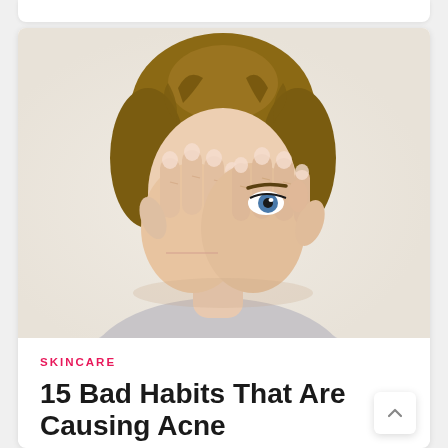[Figure (photo): A young woman with blonde hair pulled back, covering most of her face with both hands, peeking with one eye visible, wearing a light grey top, against a white background.]
SKINCARE
15 Bad Habits That Are Causing Acne